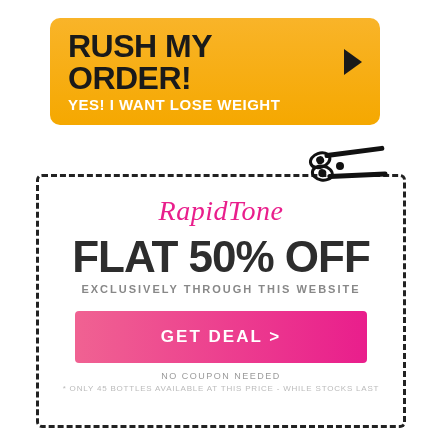[Figure (illustration): Orange rounded-rectangle button with bold black text 'RUSH MY ORDER!' and a right-pointing arrow, with white subtext 'YES! I WANT LOSE WEIGHT']
[Figure (infographic): Coupon with dashed border. Contains: scissors icon at top-right cutting edge, pink cursive RapidTone logo, bold 'FLAT 50% OFF' heading, 'EXCLUSIVELY THROUGH THIS WEBSITE' subtext, pink 'GET DEAL >' button, 'NO COUPON NEEDED' note, and small print '* ONLY 45 BOTTLES AVAILABLE AT THIS PRICE - WHILE STOCKS LAST']